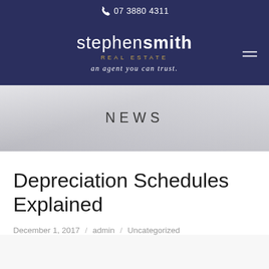07 3880 4311
[Figure (logo): Stephen Smith Real Estate logo with tagline 'an agent you can trust.' on dark navy background with hamburger menu icon]
NEWS
Depreciation Schedules Explained
December 1, 2017 / admin / Uncategorized